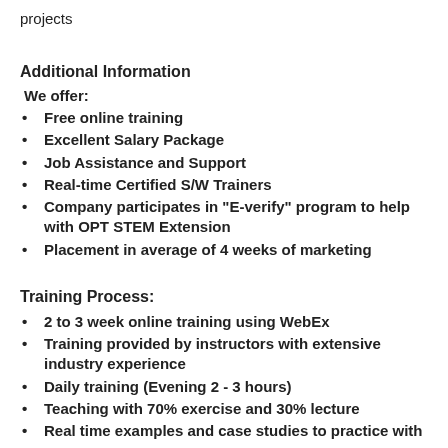projects
Additional Information
We offer:
Free online training
Excellent Salary Package
Job Assistance and Support
Real-time Certified S/W Trainers
Company participates in "E-verify" program to help with OPT STEM Extension
Placement in average of 4 weeks of marketing
Training Process:
2 to 3 week online training using WebEx
Training provided by instructors with extensive industry experience
Daily training (Evening 2 - 3 hours)
Teaching with 70% exercise and 30% lecture
Real time examples and case studies to practice with